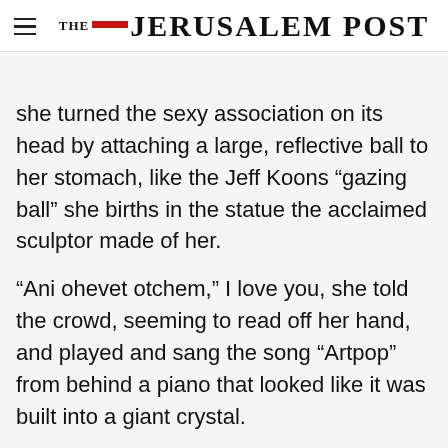THE JERUSALEM POST
she turned the sexy association on its head by attaching a large, reflective ball to her stomach, like the Jeff Koons “gazing ball” she births in the statue the acclaimed sculptor made of her.
“Ani ohevet otchem,” I love you, she told the crowd, seeming to read off her hand, and played and sang the song “Artpop” from behind a piano that looked like it was built into a giant crystal.
Advertisement